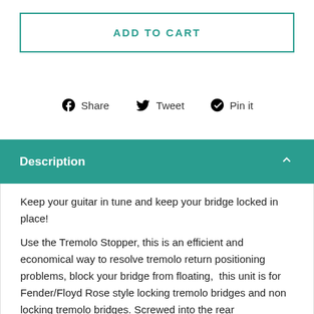ADD TO CART
[Figure (infographic): Social sharing icons: Facebook Share, Twitter Tweet, Pinterest Pin it]
Description
Keep your guitar in tune and keep your bridge locked in place!
Use the Tremolo Stopper, this is an efficient and economical way to resolve tremolo return positioning problems, block your bridge from floating,  this unit is for Fender/Floyd Rose style locking tremolo bridges and non locking tremolo bridges. Screwed into the rear